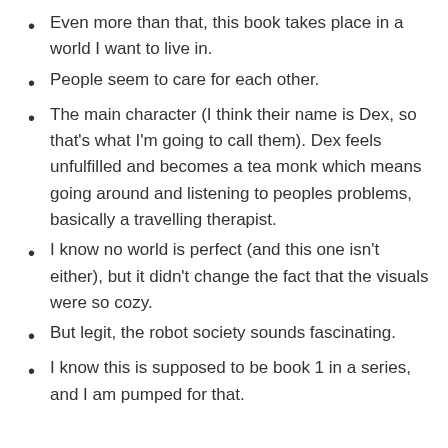Even more than that, this book takes place in a world I want to live in.
People seem to care for each other.
The main character (I think their name is Dex, so that's what I'm going to call them). Dex feels unfulfilled and becomes a tea monk which means going around and listening to peoples problems, basically a travelling therapist.
I know no world is perfect (and this one isn't either), but it didn't change the fact that the visuals were so cozy.
But legit, the robot society sounds fascinating.
I know this is supposed to be book 1 in a series, and I am pumped for that.